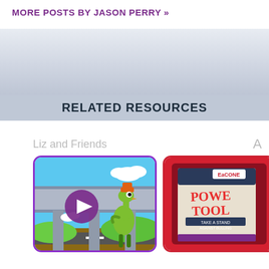MORE POSTS BY JASON PERRY »
[Figure (illustration): Gray gradient advertisement banner area]
RELATED RESOURCES
Liz and Friends
[Figure (illustration): Animated cartoon ostrich character with play button overlay, video thumbnail with purple border]
[Figure (illustration): Partially visible red-bordered thumbnail showing 'POWER TOOLS' educational resource cover]